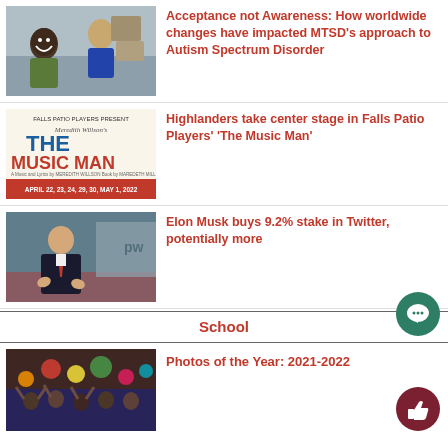[Figure (photo): Two students smiling, one in blue sweatshirt, one in green, in a classroom setting]
Acceptance not Awareness: How worldwide changes have impacted MTSD’s approach to Autism Spectrum Disorder
[Figure (photo): The Music Man show poster - Falls Patio Players present Meredith Willson's The Music Man, April 22, 23, 24, 29, 30, May 1, 2022]
Highlanders take center stage in Falls Patio Players’ ‘The Music Man’
[Figure (photo): Elon Musk speaking at a podium in a dark suit and red tie]
Elon Musk buys 9.2% stake in Twitter, potentially more
School
[Figure (photo): Crowd of students celebrating, colorful event photo]
Photos of the Year: 2021-2022